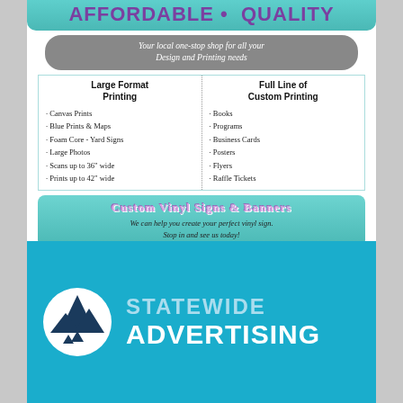AFFORDABLE • QUALITY
Your local one-stop shop for all your Design and Printing needs
Large Format Printing
· Canvas Prints
· Blue Prints & Maps
· Foam Core - Yard Signs
· Large Photos
· Scans up to 36" wide
· Prints up to 42" wide
Full Line of Custom Printing
· Books
· Programs
· Business Cards
· Posters
· Flyers
· Raffle Tickets
Custom Vinyl Signs & Banners
We can help you create your perfect vinyl sign. Stop in and see us today!
Proudly Serving Blaine County & The Hi-Line
[Figure (logo): Statewide Advertising logo with mountain/tent silhouette in white circle on teal background, with text STATEWIDE ADVERTISING]